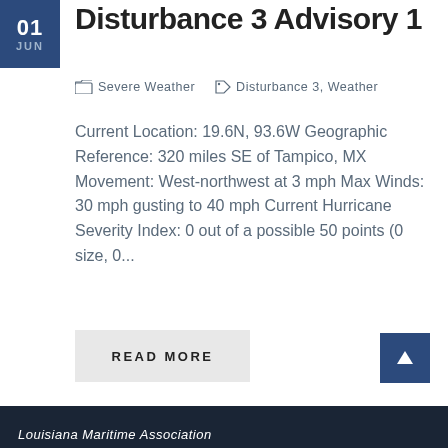01 JUN
Disturbance 3 Advisory 1
Severe Weather   Disturbance 3, Weather
Current Location: 19.6N, 93.6W Geographic Reference: 320 miles SE of Tampico, MX Movement: West-northwest at 3 mph Max Winds: 30 mph gusting to 40 mph Current Hurricane Severity Index: 0 out of a possible 50 points (0 size, 0...
READ MORE
Louisiana Maritime Association